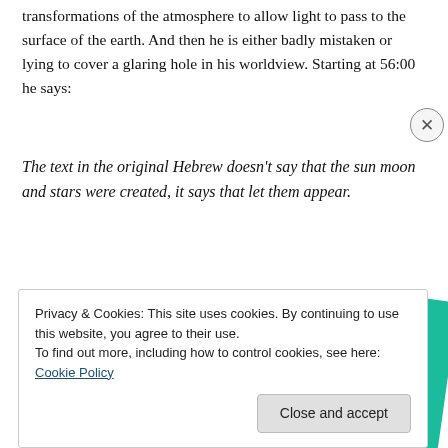transformations of the atmosphere to allow light to pass to the surface of the earth. And then he is either badly mistaken or lying to cover a glaring hole in his worldview. Starting at 56:00 he says:
The text in the original Hebrew doesn't say that the sun moon and stars were created, it says that let them appear.
[Figure (illustration): Advertisement with bold text 'lovers.' and red 'Download now' link, alongside an image of 99% Invisible podcast cards fanned out (black card with yellow grid square and 'On' teal card visible)]
Privacy & Cookies: This site uses cookies. By continuing to use this website, you agree to their use.
To find out more, including how to control cookies, see here: Cookie Policy
Close and accept